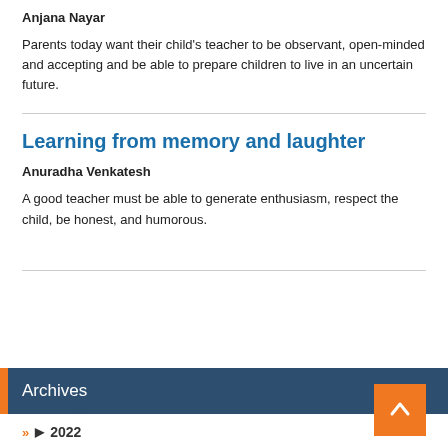Anjana Nayar
Parents today want their child's teacher to be observant, open-minded and accepting and be able to prepare children to live in an uncertain future.
Learning from memory and laughter
Anuradha Venkatesh
A good teacher must be able to generate enthusiasm, respect the child, be honest, and humorous.
Archives
▶ 2022